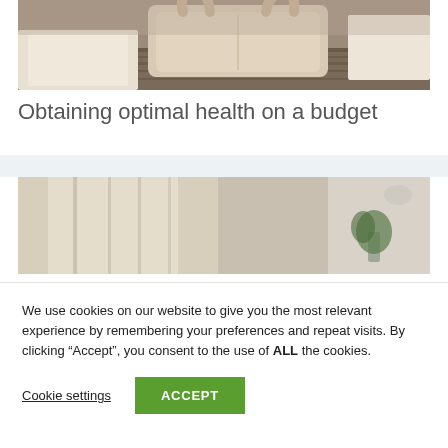[Figure (photo): Photo of a light-colored tote bag on a striped table surface, with white linens in the background]
Obtaining optimal health on a budget
[Figure (photo): Photo of a smiling woman in an orange shirt, looking to the side near a bright window, with a plant visible in background]
We use cookies on our website to give you the most relevant experience by remembering your preferences and repeat visits. By clicking “Accept”, you consent to the use of ALL the cookies.
Cookie settings  ACCEPT